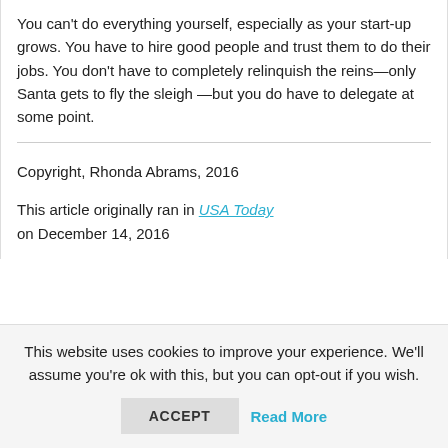You can't do everything yourself, especially as your start-up grows. You have to hire good people and trust them to do their jobs. You don't have to completely relinquish the reins—only Santa gets to fly the sleigh —but you do have to delegate at some point.
Copyright, Rhonda Abrams, 2016
This article originally ran in USA Today on December 14, 2016
This website uses cookies to improve your experience. We'll assume you're ok with this, but you can opt-out if you wish.